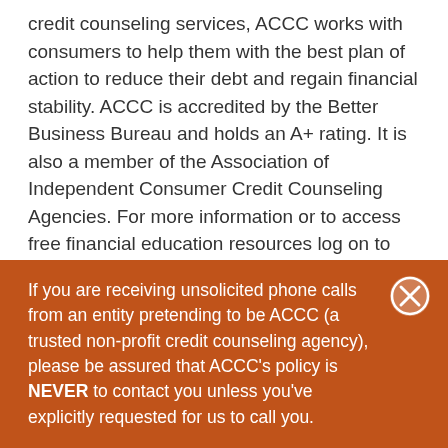credit counseling services, ACCC works with consumers to help them with the best plan of action to reduce their debt and regain financial stability. ACCC is accredited by the Better Business Bureau and holds an A+ rating. It is also a member of the Association of Independent Consumer Credit Counseling Agencies. For more information or to access free financial education resources log on to ConsumerCredit.com or visit TalkingCentsBlog.com.
If you are receiving unsolicited phone calls from an entity pretending to be ACCC (a trusted non-profit credit counseling agency), please be assured that ACCC's policy is NEVER to contact you unless you've explicitly requested for us to call you.